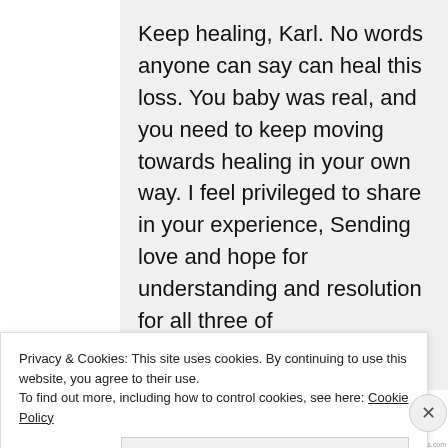Keep healing, Karl. No words anyone can say can heal this loss. You baby was real, and you need to keep moving towards healing in your own way. I feel privileged to share in your experience, Sending love and hope for understanding and resolution for all three of
Privacy & Cookies: This site uses cookies. By continuing to use this website, you agree to their use.
To find out more, including how to control cookies, see here: Cookie Policy
Close and accept